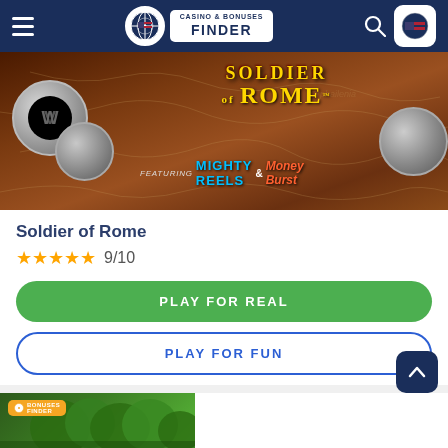Casino & Bonuses Finder
[Figure (screenshot): Soldier of Rome slot game banner featuring Mighty Reels and Money Burst, showing Roman coins on a map background]
Soldier of Rome
★★★★★ 9/10
PLAY FOR REAL
PLAY FOR FUN
[Figure (screenshot): Partial view of another game card showing a forest/nature scene with Bonuses Finder badge]